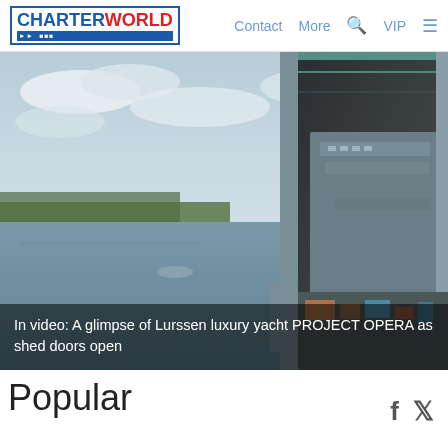CHARTERWORLD  Contact  More  VIP
[Figure (photo): Aerial view of a large luxury yacht under construction inside a shipyard shed with open doors, showing the vessel on a river with cranes visible above.]
In video: A glimpse of Lurssen luxury yacht PROJECT OPERA as shed doors open
Popular